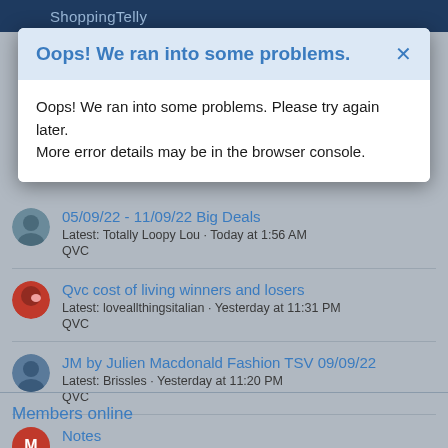ShoppingTelly
Oops! We ran into some problems.
Oops! We ran into some problems. Please try again later. More error details may be in the browser console.
05/09/22 - 11/09/22 Big Deals
Latest: Totally Loopy Lou · Today at 1:56 AM
QVC
Qvc cost of living winners and losers
Latest: loveallthingsitalian · Yesterday at 11:31 PM
QVC
JM by Julien Macdonald Fashion TSV 09/09/22
Latest: Brissles · Yesterday at 11:20 PM
QVC
Notes
Latest: Mommabear · Yesterday at 10:45 PM
Gemporia
Members online